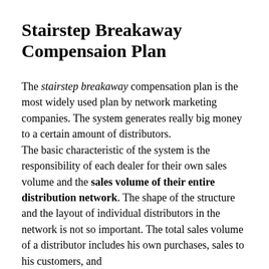Stairstep Breakaway Compensaion Plan
The stairstep breakaway compensation plan is the most widely used plan by network marketing companies. The system generates really big money to a certain amount of distributors. The basic characteristic of the system is the responsibility of each dealer for their own sales volume and the sales volume of their entire distribution network. The shape of the structure and the layout of individual distributors in the network is not so important. The total sales volume of a distributor includes his own purchases, sales to his customers, and